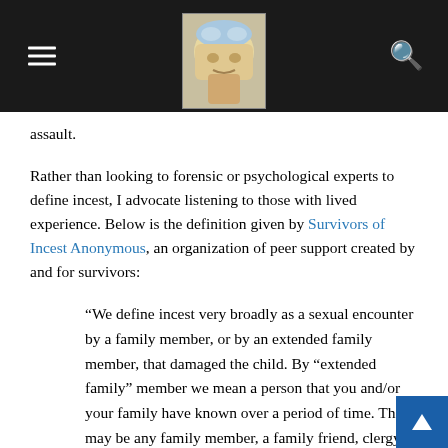[navigation header with menu icon, logo, and search icon]
assault.
Rather than looking to forensic or psychological experts to define incest, I advocate listening to those with lived experience. Below is the definition given by Survivors of Incest Anonymous, an organization of peer support created by and for survivors:
“We define incest very broadly as a sexual encounter by a family member, or by an extended family member, that damaged the child. By “extended family” member we mean a person that you and/or your family have known over a period of time. This may be any family member, a family friend, clergy, another child, or anyone who betrayed the child’s innocence and trus…